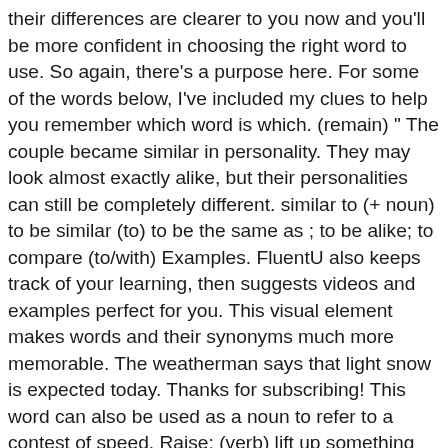their differences are clearer to you now and you'll be more confident in choosing the right word to use. So again, there's a purpose here. For some of the words below, I've included my clues to help you remember which word is which. (remain) " The couple became similar in personality. They may look almost exactly alike, but their personalities can still be completely different. similar to (+ noun) to be similar (to) to be the same as ; to be alike; to compare (to/with) Examples. FluentU also keeps track of your learning, then suggests videos and examples perfect for you. This visual element makes words and their synonyms much more memorable. The weatherman says that light snow is expected today. Thanks for subscribing! This word can also be used as a noun to refer to a contest of speed. Raise: (verb) lift up something like your hand or a flag. A thesaurus (which lists synonyms for any word) will also help you identify words with similar meanings. I didn't buy it because the price was too high. When you look, you're paying attention to what you're seeing. Since much of the English language is derived